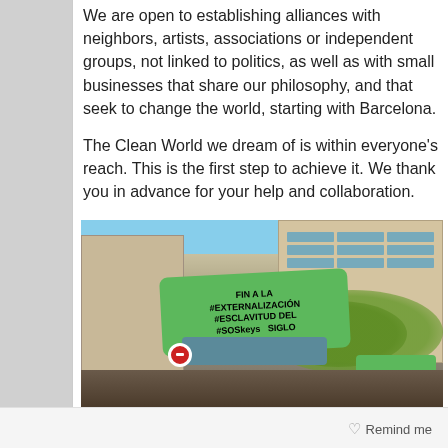We are open to establishing alliances with neighbors, artists, associations or independent groups, not linked to politics, as well as with small businesses that share our philosophy, and that seek to change the world, starting with Barcelona.

The Clean World we dream of is within everyone's reach. This is the first step to achieve it. We thank you in advance for your help and collaboration.
[Figure (photo): A protest scene in Barcelona. A woman in sunglasses holds up a large green sign reading 'FIN A LA #EXTERNALIZACIÓN #ESCLAVITUD DEL SIGLO XXI #SOSKeys SIGLO' above her head. Behind her are classic Barcelona apartment buildings and trees. Other protesters are visible in the crowd.]
Remind me